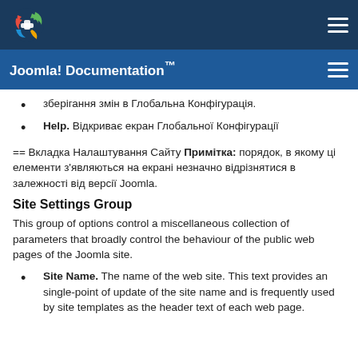Joomla! Documentation™
зберігання змін в Глобальна Конфігурація.
Help. Відкриває екран Глобальної Конфігурації
== Вкладка Налаштування Сайту Примітка: порядок, в якому ці елементи з'являються на екрані незначно відрізнятися в залежності від версії Joomla.
Site Settings Group
This group of options control a miscellaneous collection of parameters that broadly control the behaviour of the public web pages of the Joomla site.
Site Name. The name of the web site. This text provides an single-point of update of the site name and is frequently used by site templates as the header text of each web page.